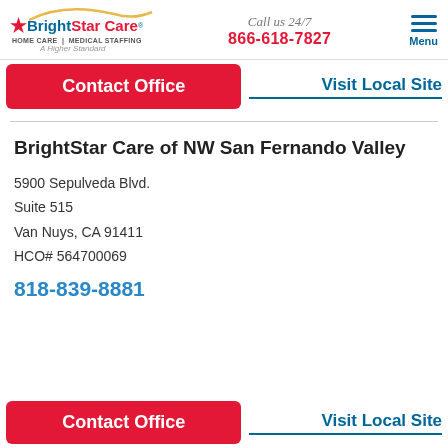[Figure (logo): BrightStar Care logo with star, swoosh arc, HOME CARE | MEDICAL STAFFING, A Higher Standard tagline]
Call us 24/7
866-618-7827
[Figure (other): Hamburger menu icon with three horizontal lines and Menu label]
Contact Office
Visit Local Site
BrightStar Care of NW San Fernando Valley
5900 Sepulveda Blvd.
Suite 515
Van Nuys, CA 91411
HCO# 564700069
818-839-8881
Contact Office
Visit Local Site